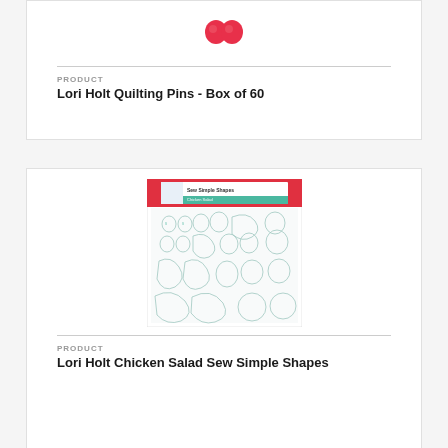[Figure (photo): Lori Holt Quilting Pins product image showing red pin tops]
PRODUCT
Lori Holt Quilting Pins - Box of 60
[Figure (photo): Lori Holt Chicken Salad Sew Simple Shapes product image showing template sheets with chicken/bird shapes]
PRODUCT
Lori Holt Chicken Salad Sew Simple Shapes